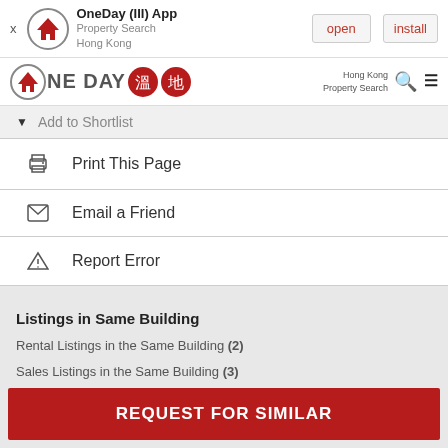[Figure (screenshot): App install banner for OneDay (III) App - Property Search Hong Kong with open and install buttons]
[Figure (logo): OneDay Property Search Hong Kong website header logo with navigation icons]
Add to Shortlist
Print This Page
Email a Friend
Report Error
Listings in Same Building
Rental Listings in the Same Building (2)
Sales Listings in the Same Building (3)
REQUEST FOR SIMILAR